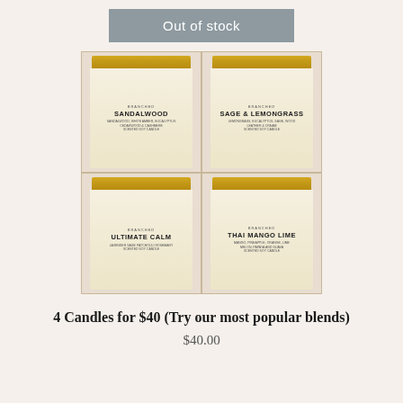Out of stock
[Figure (photo): Four candle jars with gold lids arranged in a 2x2 grid. Labels read: SANDALWOOD (top left), SAGE & LEMONGRASS (top right), ULTIMATE CALM (bottom left), THAI MANGO LIME (bottom right). Each jar has a kraft paper label with the Branched brand name.]
4 Candles for $40 (Try our most popular blends)
$40.00